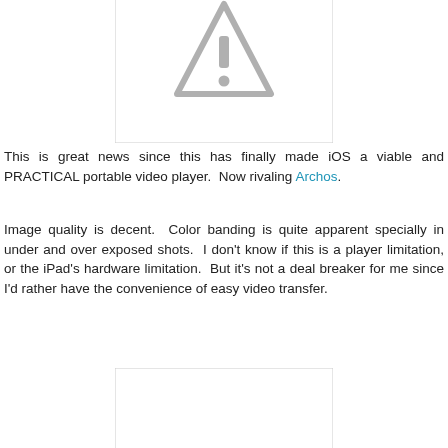[Figure (other): Placeholder image with warning triangle icon (grey exclamation mark in triangle), white background with grey border, partially visible at top of page]
This is great news since this has finally made iOS a viable and PRACTICAL portable video player.  Now rivaling Archos.
Image quality is decent.  Color banding is quite apparent specially in under and over exposed shots.  I don't know if this is a player limitation, or the iPad's hardware limitation.  But it's not a deal breaker for me since I'd rather have the convenience of easy video transfer.
[Figure (other): Placeholder image with warning triangle icon (grey exclamation mark in triangle), white background with grey border, partially visible at bottom of page]